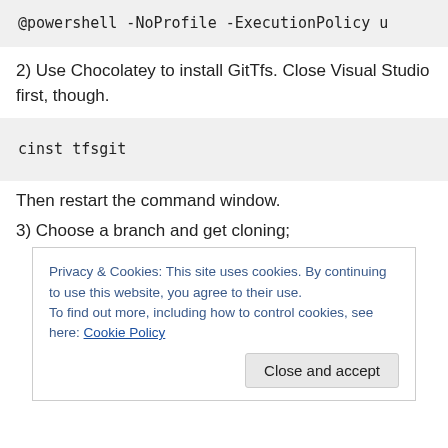[Figure (screenshot): Code block showing '@powershell -NoProfile -ExecutionPolicy u' (truncated)]
2) Use Chocolatey to install GitTfs. Close Visual Studio first, though.
[Figure (screenshot): Code block showing 'cinst tfsgit']
Then restart the command window.
3) Choose a branch and get cloning;
Privacy & Cookies: This site uses cookies. By continuing to use this website, you agree to their use.
To find out more, including how to control cookies, see here: Cookie Policy
Close and accept